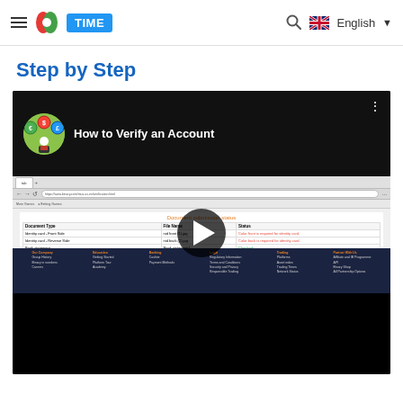TIME (logo/navigation with search and English language selector)
Step by Step
[Figure (screenshot): Video thumbnail showing a YouTube-style video titled 'How to Verify an Account' with a play button overlay. The video content shows a browser screenshot of a document submission status page with a table listing Document Type, File Name, and Status columns for identity card front/back, bank statement, and selfie documents. Below is a website footer with dark blue background. A green play button is centered on the video.]